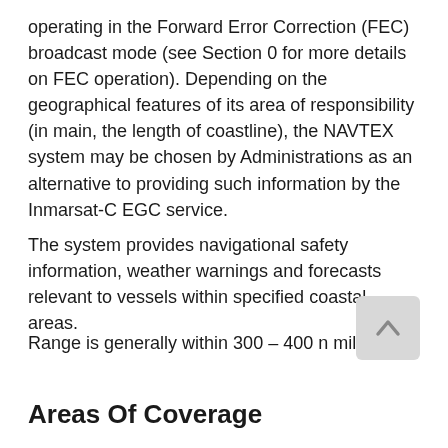operating in the Forward Error Correction (FEC) broadcast mode (see Section 0 for more details on FEC operation). Depending on the geographical features of its area of responsibility (in main, the length of coastline), the NAVTEX system may be chosen by Administrations as an alternative to providing such information by the Inmarsat-C EGC service.
The system provides navigational safety information, weather warnings and forecasts relevant to vessels within specified coastal areas.
Range is generally within 300 – 400 n miles.
Areas Of Coverage